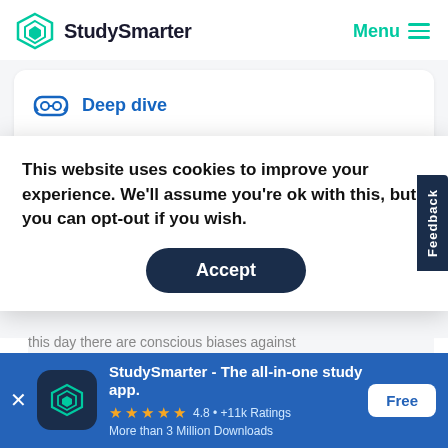StudySmarter | Menu
Deep dive
Other examples of conscious bias can be seen in matters pertaining to gender
This website uses cookies to improve your experience. We'll assume you're ok with this, but you can opt-out if you wish.
Accept
this day there are conscious biases against
StudySmarter - The all-in-one study app.
4.8 • +11k Ratings
More than 3 Million Downloads
Free